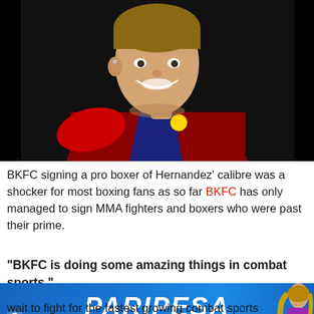[Figure (photo): A smiling young man wearing a red and navy athletic jacket, holding a medal up near his chin, against a dark background. Appears to be an Olympic or major boxing event photo.]
BKFC signing a pro boxer of Hernandez' calibre was a shocker for most boxing fans as so far BKFC has only managed to sign MMA fighters and boxers who were past their prime.
"BKFC is doing some amazing things in combat sports,"
[Figure (other): PARIPESA advertisement banner — blue background with white italic bold text reading PARIPESA, and a woman figure on the right side.]
wait to fight for the fastest growing combat sports